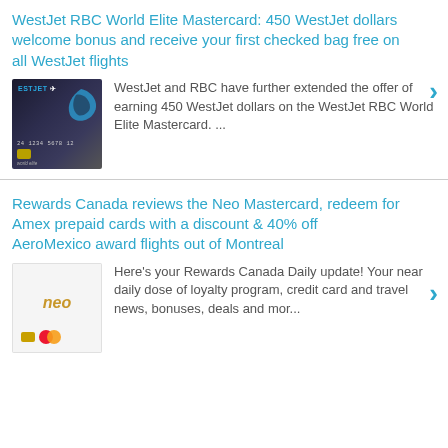WestJet RBC World Elite Mastercard: 450 WestJet dollars welcome bonus and receive your first checked bag free on all WestJet flights
[Figure (photo): WestJet RBC World Elite Mastercard credit card image]
WestJet and RBC have further extended the offer of earning 450 WestJet dollars on the WestJet RBC World Elite Mastercard. ...
Rewards Canada reviews the Neo Mastercard, redeem for Amex prepaid cards with a discount & 40% off AeroMexico award flights out of Montreal
[Figure (photo): Neo Mastercard credit card image]
Here's your Rewards Canada Daily update! Your near daily dose of loyalty program, credit card and travel news, bonuses, deals and mor...